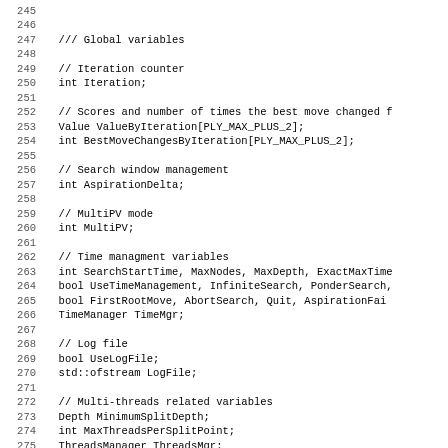Code listing lines 245-277 showing global variables, iteration counter, scores, search window management, MultiPV mode, time management variables, log file, and multi-threads related variables declarations in C++.